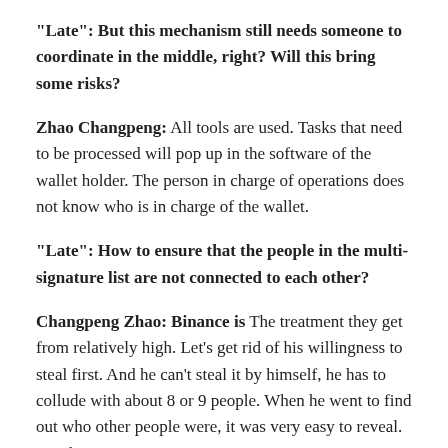“Late”: But this mechanism still needs someone to coordinate in the middle, right? Will this bring some risks?
Zhao Changpeng: All tools are used. Tasks that need to be processed will pop up in the software of the wallet holder. The person in charge of operations does not know who is in charge of the wallet.
“Late”: How to ensure that the people in the multi-signature list are not connected to each other?
Changpeng Zhao: Binance is The treatment they get from relatively high. Let’s get rid of his willingness to steal first. And he can’t steal it by himself, he has to collude with about 8 or 9 people. When he went to find out who other people were, it was very easy to reveal. It’s okay